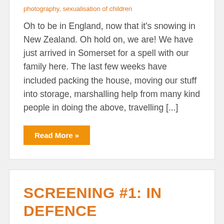photography, sexualisation of children
Oh to be in England, now that it's snowing in New Zealand. Oh hold on, we are! We have just arrived in Somerset for a spell with our family here. The last few weeks have included packing the house, moving our stuff into storage, marshalling help from many kind people in doing the above, travelling [...]
Read More »
SCREENING #1: IN DEFENCE OF SCREENS